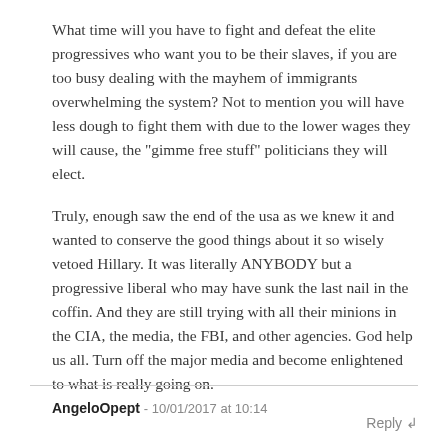What time will you have to fight and defeat the elite progressives who want you to be their slaves, if you are too busy dealing with the mayhem of immigrants overwhelming the system? Not to mention you will have less dough to fight them with due to the lower wages they will cause, the "gimme free stuff" politicians they will elect.
Truly, enough saw the end of the usa as we knew it and wanted to conserve the good things about it so wisely vetoed Hillary. It was literally ANYBODY but a progressive liberal who may have sunk the last nail in the coffin. And they are still trying with all their minions in the CIA, the media, the FBI, and other agencies. God help us all. Turn off the major media and become enlightened to what is really going on.
Reply ↲
AngeloOpept - 10/01/2017 at 10:14